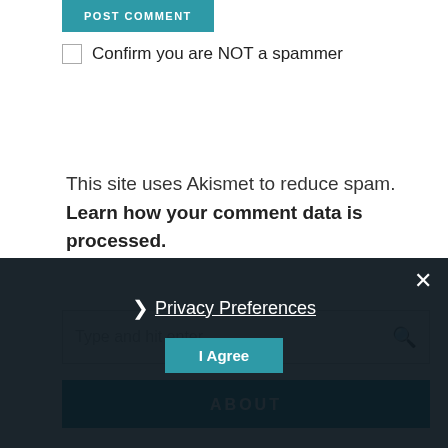POST COMMENT
Confirm you are NOT a spammer
This site uses Akismet to reduce spam. Learn how your comment data is processed.
Type and hit enter...
ABOUT
Privacy Preferences
I Agree